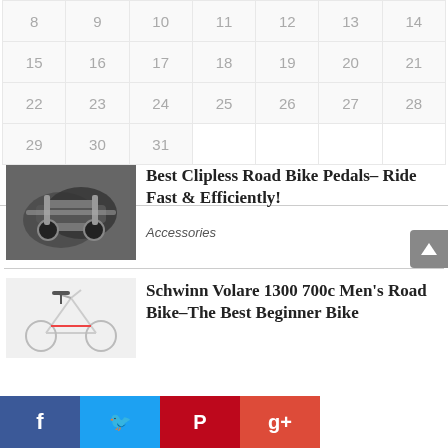| 8 | 9 | 10 | 11 | 12 | 13 | 14 |
| 15 | 16 | 17 | 18 | 19 | 20 | 21 |
| 22 | 23 | 24 | 25 | 26 | 27 | 28 |
| 29 | 30 | 31 |  |  |  |  |
« May
Latest Posts
[Figure (photo): Black and white photo of clipless road bike pedals]
Best Clipless Road Bike Pedals– Ride Fast & Efficiently!
Accessories
[Figure (photo): White road bike - Schwinn Volare 1300 700c]
Schwinn Volare 1300 700c Men's Road Bike–The Best Beginner Bike
[Figure (infographic): Social media sharing buttons: Facebook, Twitter, Pinterest, Google+]